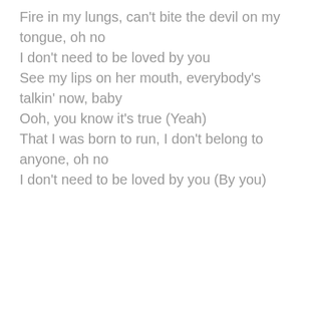Fire in my lungs, can't bite the devil on my tongue, oh no
I don't need to be loved by you
See my lips on her mouth, everybody's talkin' now, baby
Ooh, you know it's true (Yeah)
That I was born to run, I don't belong to anyone, oh no
I don't need to be loved by you (By you)